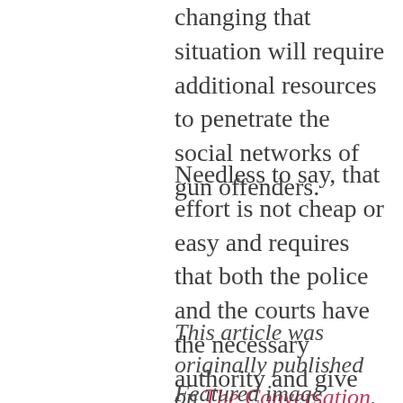changing that situation will require additional resources to penetrate the social networks of gun offenders.
Needless to say, that effort is not cheap or easy and requires that both the police and the courts have the necessary authority and give this sort of gun enforcement high priority.
This article was originally published on The Conversation. Read the original article.
Featured image courtesy of Library of Congress.